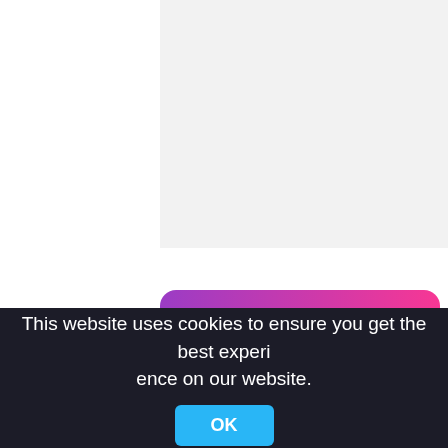[Figure (other): Gray placeholder image area at top of page]
[Figure (other): Download button with gradient background (purple to pink) and cloud download icon with text DOWNLOAD]
full moon
moon emoji
moon icon
the moon
sun and moon
yellow moon
PNG info, 333x337px
Non-commercial use, DMCA Contact Us
This website uses cookies to ensure you get the best experience on our website.